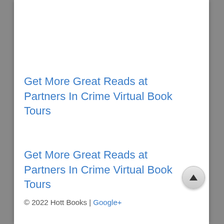Get More Great Reads at Partners In Crime Virtual Book Tours
Get More Great Reads at Partners In Crime Virtual Book Tours
© 2022 Hott Books | Google+